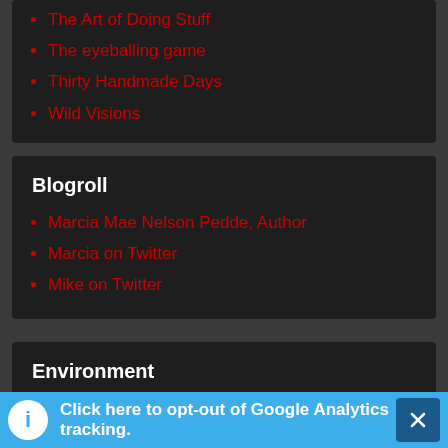The Art of Doing Stuff
The eyeballing game
Thirty Handmade Days
Wild Visions
Blogroll
Marcia Mae Nelson Pedde, Author
Marcia on Twitter
Mike on Twitter
Environment
Being Somewhere – Low Impact Living
BIOPOLIS
Blancpain Ocean Commitment
Click here to opt-out of Google Analytics tracking.